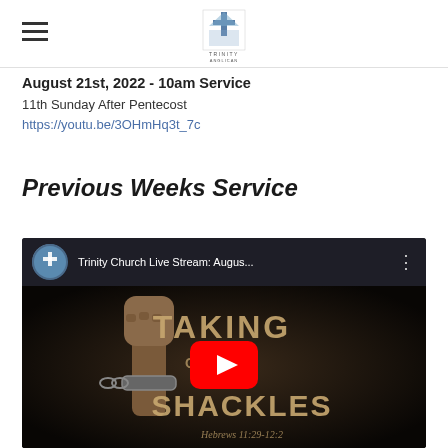Trinity Anglican Church logo with hamburger menu
August 21st, 2022 - 10am Service
11th Sunday After Pentecost
https://youtu.be/3OHmHq3t_7c
Previous Weeks Service
[Figure (screenshot): YouTube video embed thumbnail showing 'Trinity Church Live Stream: Augus...' with a dramatic image of a raised fist breaking shackles and text reading TAKING OFF THE SHACKLES, Hebrews 11:29-12:2, with a YouTube play button overlay]